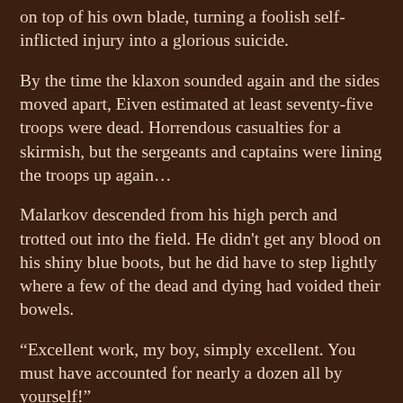on top of his own blade, turning a foolish self-inflicted injury into a glorious suicide.
By the time the klaxon sounded again and the sides moved apart, Eiven estimated at least seventy-five troops were dead. Horrendous casualties for a skirmish, but the sergeants and captains were lining the troops up again…
Malarkov descended from his high perch and trotted out into the field. He didn't get any blood on his shiny blue boots, but he did have to step lightly where a few of the dead and dying had voided their bowels.
“Excellent work, my boy, simply excellent. You must have accounted for nearly a dozen all by yourself!”
Eiven grunted. It wasn't enough to pay his bill with the dealer.
“I've had a word with my opposite number,” Malarkov jerked his thumb towards the other side of the field. “And we've agreed to settle this with a Trial of Champions. I’d like you to